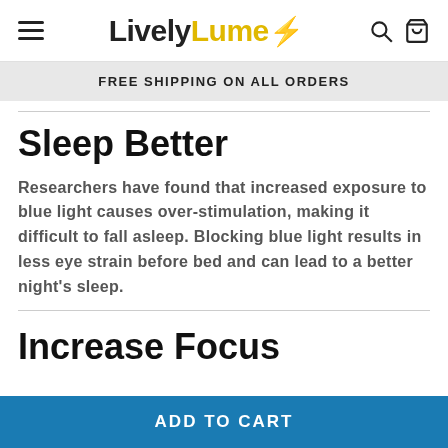LivelyLume — FREE SHIPPING ON ALL ORDERS
Sleep Better
Researchers have found that increased exposure to blue light causes over-stimulation, making it difficult to fall asleep. Blocking blue light results in less eye strain before bed and can lead to a better night's sleep.
Increase Focus
ADD TO CART